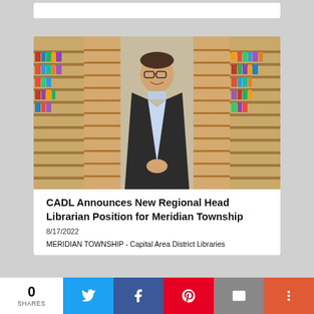[Figure (photo): Man in dark blazer and glasses smiling, standing in front of library bookshelves with wooden display units]
CADL Announces New Regional Head Librarian Position for Meridian Township
8/17/2022
MERIDIAN TOWNSHIP - Capital Area District Libraries
0 SHARES [Twitter] [Facebook] [Pinterest] [Email] [More]